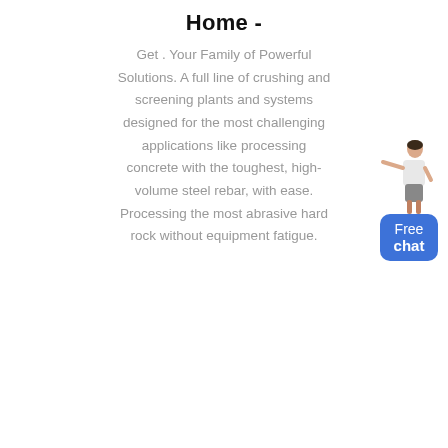Home -
Get . Your Family of Powerful Solutions. A full line of crushing and screening plants and systems designed for the most challenging applications like processing concrete with the toughest, high-volume steel rebar, with ease. Processing the most abrasive hard rock without equipment fatigue.
[Figure (illustration): Chat widget with a female figure standing behind a blue rounded rectangle button labeled 'Free chat']